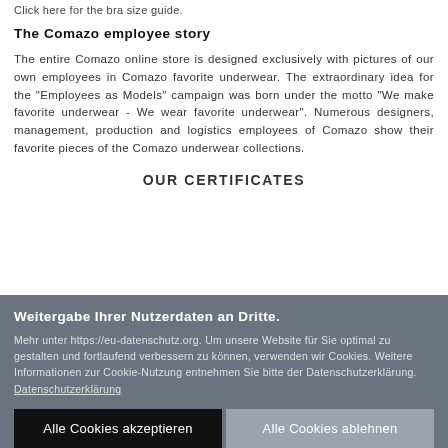Click here for the bra size guide.
The Comazo employee story
The entire Comazo online store is designed exclusively with pictures of our own employees in Comazo favorite underwear. The extraordinary idea for the "Employees as Models" campaign was born under the motto "We make favorite underwear - We wear favorite underwear". Numerous designers, management, production and logistics employees of Comazo show their favorite pieces of the Comazo underwear collections.
OUR CERTIFICATES
Weitergabe Ihrer Nutzerdaten an Dritte.
Mehr unter https://eu-datenschutz.org. Um unsere Website für Sie optimal zu gestalten und fortlaufend verbessern zu können, verwenden wir Cookies. Weitere Informationen zur Cookie-Nutzung entnehmen Sie bitte der Datenschutzerklärung. Datenschutzerklärung
Alle Cookies akzeptieren
Alle Cookies ablehnen